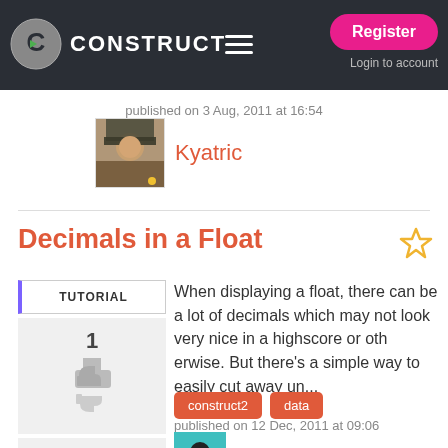CONSTRUCT — Register | Login to account
published on 3 Aug, 2011 at 16:54
[Figure (photo): Avatar thumbnail for user Kyatric, showing a person in military-style costume]
Kyatric
Decimals in a Float
TUTORIAL
1
4.6K visits
6.9K views
1 comments
When displaying a float, there can be a lot of decimals which may not look very nice in a highscore or otherwise. But there's a simple way to easily cut away un...
construct2
data
published on 12 Dec, 2011 at 09:06
[Figure (photo): Avatar thumbnail for user CodeMasterMike, teal/green background with cartoon face]
CodeMasterMike